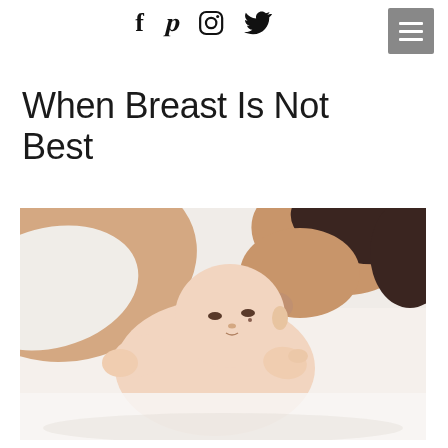Social media icons: Facebook, Pinterest, Instagram, Twitter, and menu button
When Breast Is Not Best
[Figure (photo): A mother lying down and kissing her newborn baby on the head. The baby is lying on its back on a white surface, looking calm. The image is warmly lit with soft white tones.]